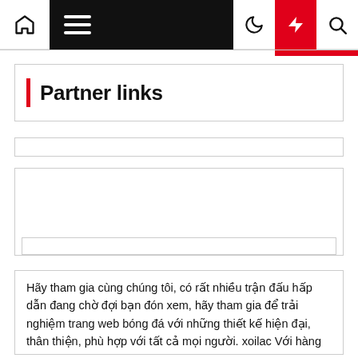Navigation bar with home, menu, moon, lightning, search icons
Partner links
Hãy tham gia cùng chúng tôi, có rất nhiều trận đấu hấp dẫn đang chờ đợi bạn đón xem, hãy tham gia để trải nghiệm trang web bóng đá với những thiết kế hiện đại, thân thiện, phù hợp với tất cả mọi người. xoilac Với hàng trăm trận đấu được trực tiếp hàng